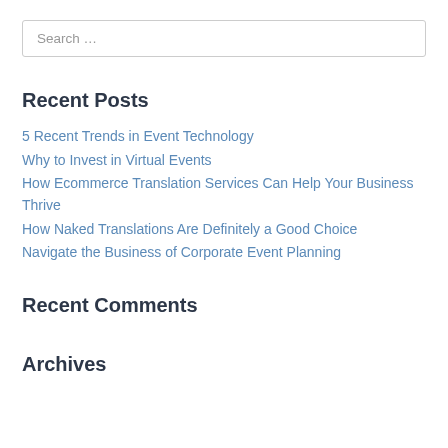Search …
Recent Posts
5 Recent Trends in Event Technology
Why to Invest in Virtual Events
How Ecommerce Translation Services Can Help Your Business Thrive
How Naked Translations Are Definitely a Good Choice
Navigate the Business of Corporate Event Planning
Recent Comments
Archives